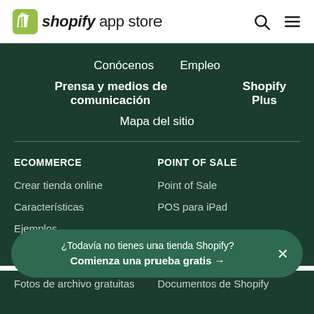[Figure (logo): Shopify App Store logo with green shopping bag icon and text 'shopify app store']
Conócenos
Empleo
Prensa y medios de comunicación
Shopify Plus
Mapa del sitio
ECOMMERCE
Crear tienda online
Características
Ejemplos
Nombres de dominio
POINT OF SALE
Point of Sale
POS para iPad
AYUDA
¿Todavía no tienes una tienda Shopify? Comienza una prueba gratis →
Fotos de archivo gratuitas
Documentos de Shopify